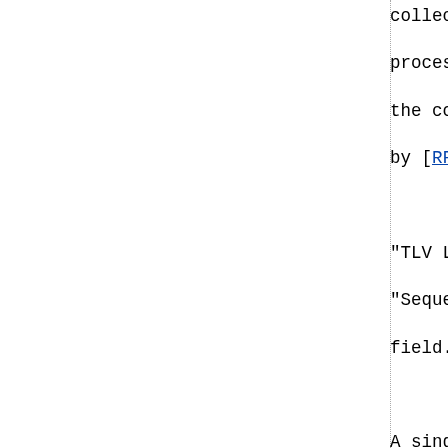collectively referred to a processing rules of the MA the corresponding rules of by [RFC7361].
"TLV Length" is the total "Sequence Number TLV Leng field.
A single bit (called "A-bi receipt and processing of acknowledge message, with
A single bit (called "R-bi requesting reset of the s when the pseudowire is re send and expected receive
The Sequence Number TLV MU
The byte from which the